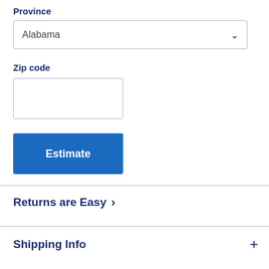Province
Alabama
Zip code
[Figure (screenshot): Empty zip code text input box]
[Figure (screenshot): Blue 'Estimate' button]
Returns are Easy >
Shipping Info +